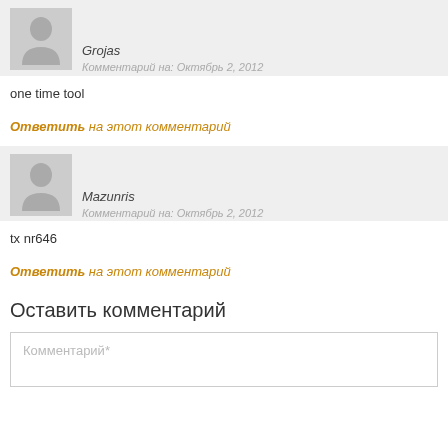[Figure (illustration): User avatar placeholder icon (grey silhouette) for Grojas]
Grojas
Комментарий на: Октябрь 2, 2012
one time tool
Ответить на этот комментарий
[Figure (illustration): User avatar placeholder icon (grey silhouette) for Mazunris]
Mazunris
Комментарий на: Октябрь 2, 2012
tx nr646
Ответить на этот комментарий
Оставить комментарий
Комментарий*